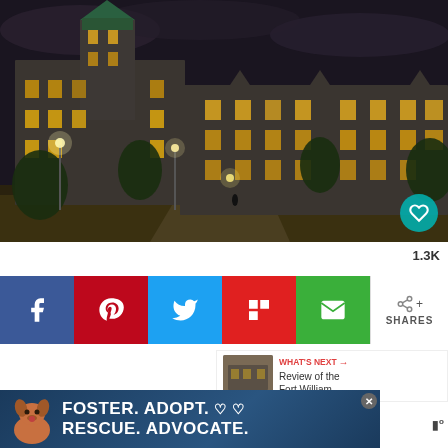[Figure (photo): Night photograph of a large Gothic-style stone building (appears to be a historic university or government building) illuminated with warm lights, taken from a wide-angle low perspective. Trees are visible in the foreground, dark sky above.]
1.3K
[Figure (infographic): Row of social share buttons: Facebook (blue), Pinterest (red), Twitter (blue), Flipboard (red), Email (green), and a share widget showing share icon and SHARES label]
[Figure (screenshot): WHAT'S NEXT widget showing thumbnail of a building and text 'Review of the Fort William...']
Disclosure: This article may contain affiliate links. We will make
[Figure (illustration): Advertisement banner with dark blue background showing a dog on the left and text: FOSTER. ADOPT. ♡ ♡ RESCUE. ADVOCATE. with a close button in the top right corner]
a sm... ...thing at no...